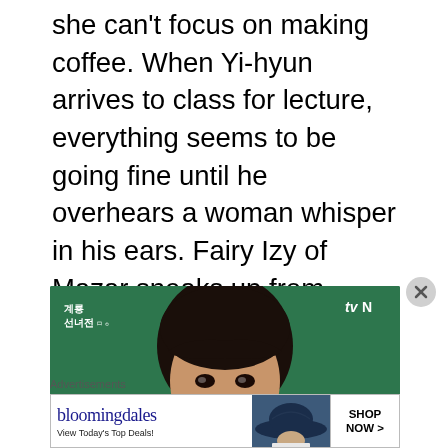she can't focus on making coffee. When Yi-hyun arrives to class for lecture, everything seems to be going fine until he overhears a woman whisper in his ears. Fairy Izy of Mazar sneaks up from behind Yi-hyun, chokes his throat, and warns him to complete his original plan of getting revenge. The rest of his class watches as Yi-hyun struggles for air and panics at what just happened to him. Maybe Yi-hyun needs some of Ok-nam's coffee.
[Figure (screenshot): Screenshot of a Korean TV drama (tvN) showing a young man with dark hair against a green chalkboard background. Korean text reading '계룡 선녀전' visible in top left, tvN logo in top right.]
Advertisements
[Figure (photo): Bloomingdale's advertisement banner showing logo text 'bloomingdales', subtext 'View Today's Top Deals!', a woman wearing a large navy sun hat, and a 'SHOP NOW >' button.]